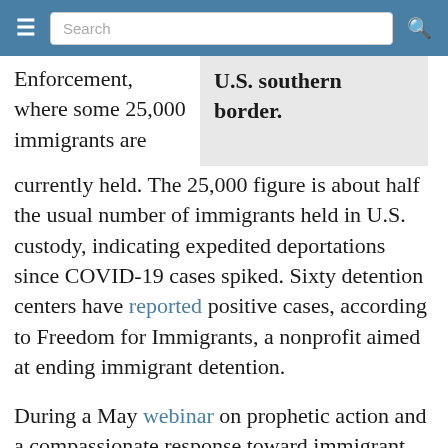☰  Search  🔍
Enforcement, where some 25,000 immigrants are currently held. The 25,000 figure is about half the usual number of immigrants held in U.S. custody, indicating expedited deportations since COVID-19 cases spiked. Sixty detention centers have reported positive cases, according to Freedom for Immigrants, a nonprofit aimed at ending immigrant detention.
U.S. southern border.
During a May webinar on prophetic action and a compassionate response toward immigrant detention during COVID-19 hosted Episcopal Migration Ministries, participants learned that Texas, Louisiana, Arizona, California and Georgia have the highest number of immigrants in detention facilities. Participants also learned